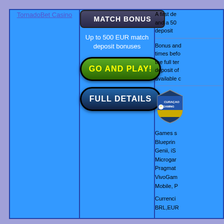TornadoBet Casino
MATCH BONUS
Up to 500 EUR match deposit bonuses
GO AND PLAY!
FULL DETAILS
A first de and a 50 deposit
Bonus and times before the full term deposit of available c
[Figure (logo): Curacao gaming license shield logo]
Games s Blueprint Genii, iS Microgar Pragmat VivoGam Mobile, P
Currenci BRL,EUR